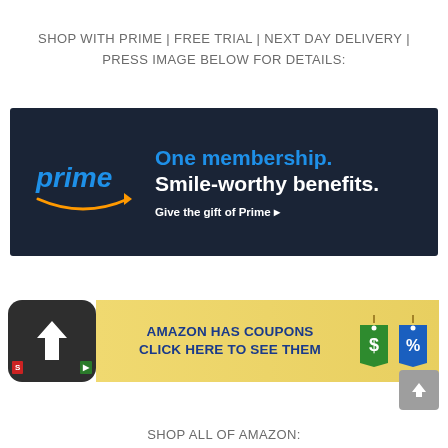SHOP WITH PRIME | FREE TRIAL | NEXT DAY DELIVERY | PRESS IMAGE BELOW FOR DETAILS:
[Figure (illustration): Amazon Prime banner ad with dark navy background showing 'prime' logo with smile arrow, text reading 'One membership. Smile-worthy benefits. Give the gift of Prime ›']
[Figure (illustration): Amazon coupons banner ad with yellow/gold background, dark square icon with white upward arrow on left, bold blue text 'AMAZON HAS COUPONS CLICK HERE TO SEE THEM', and green dollar sign and blue percent sign coupon tag icons on right]
SHOP ALL OF AMAZON: